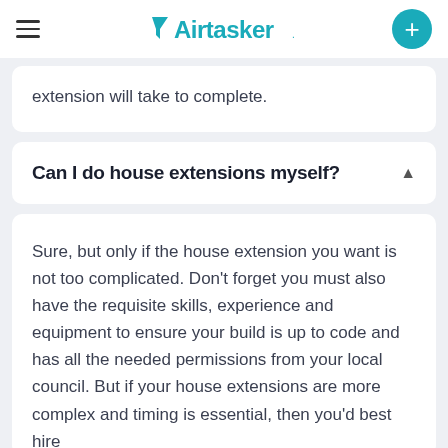Airtasker
extension will take to complete.
Can I do house extensions myself?
Sure, but only if the house extension you want is not too complicated. Don't forget you must also have the requisite skills, experience and equipment to ensure your build is up to code and has all the needed permissions from your local council. But if your house extensions are more complex and timing is essential, then you'd best hire